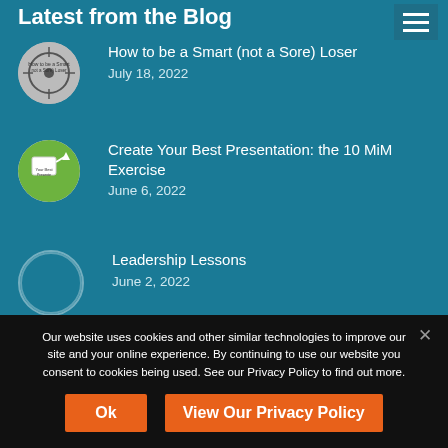Latest from the Blog
How to be a Smart (not a Sore) Loser
July 18, 2022
Create Your Best Presentation: the 10 MiM Exercise
June 6, 2022
Leadership Lessons
June 2, 2022
Going from Zero to Hero
Our website uses cookies and other similar technologies to improve our site and your online experience. By continuing to use our website you consent to cookies being used. See our Privacy Policy to find out more.
Ok
View Our Privacy Policy